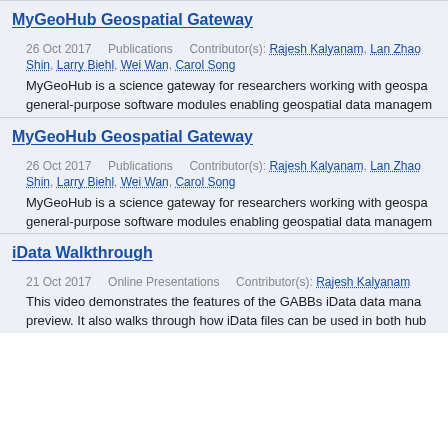MyGeoHub Geospatial Gateway
26 Oct 2017    Publications    Contributor(s): Rajesh Kalyanam, Lan Zhao Shin, Larry Biehl, Wei Wan, Carol Song
MyGeoHub is a science gateway for researchers working with geospa general-purpose software modules enabling geospatial data managem
MyGeoHub Geospatial Gateway
26 Oct 2017    Publications    Contributor(s): Rajesh Kalyanam, Lan Zhao Shin, Larry Biehl, Wei Wan, Carol Song
MyGeoHub is a science gateway for researchers working with geospa general-purpose software modules enabling geospatial data managem
iData Walkthrough
21 Oct 2017    Online Presentations    Contributor(s): Rajesh Kalyanam
This video demonstrates the features of the GABBs iData data mana preview. It also walks through how iData files can be used in both hub